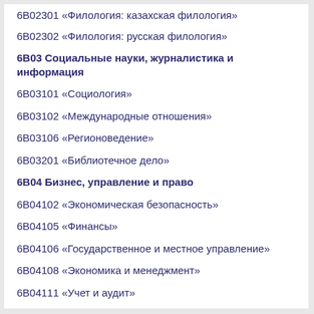6B02301 «Филология: казахская филология»
6B02302 «Филология: русская филология»
6B03 Социальные науки, журналистика и информация
6B03101 «Социология»
6B03102 «Международные отношения»
6B03106 «Регионоведение»
6B03201 «Библиотечное дело»
6B04 Бизнес, управление и право
6B04102 «Экономическая безопасность»
6B04105 «Финансы»
6B04106 «Государственное и местное управление»
6B04108 «Экономика и менеджмент»
6B04111 «Учет и аудит»
6B04114 «Маркетинг и бизнес»
6B04202 «Юриспруденция»